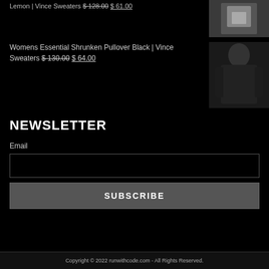Lemon | Vince Sweaters $ 128.00 $ 61.00
[Figure (photo): Small product thumbnail of a light-colored sweater on a model, light background]
Womens Essential Shrunken Pullover Black | Vince Sweaters $ 130.00 $ 64.00
[Figure (photo): Small product thumbnail of a black pullover sweater on a model, dark/neutral background]
NEWSLETTER
Email
SUBSCRIBE
Copyright © 2022 runwithcode.com - All Rights Reserved.